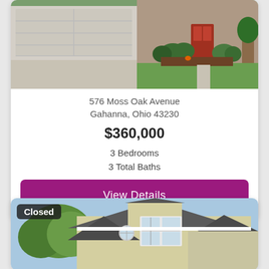[Figure (photo): Exterior photo of a house with attached garage, concrete driveway, green lawn, red front door, and shrubs. Partial view at top of page.]
576 Moss Oak Avenue
Gahanna, Ohio 43230
$360,000
3 Bedrooms
3 Total Baths
View Details
[Figure (photo): Exterior photo of a house with gray roof, beige/cream siding, bay window, circular window accent, and trees in background. Labeled 'Closed'.]